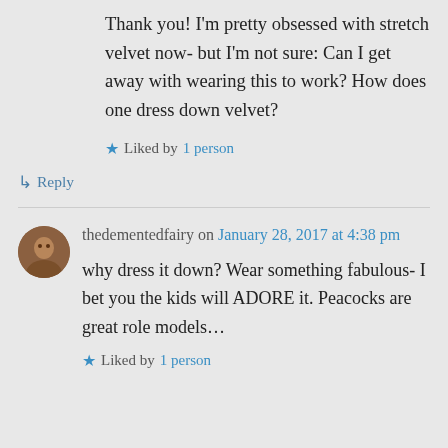Thank you! I'm pretty obsessed with stretch velvet now- but I'm not sure: Can I get away with wearing this to work? How does one dress down velvet?
★ Liked by 1 person
↳ Reply
thedementedfairy on January 28, 2017 at 4:38 pm
why dress it down? Wear something fabulous- I bet you the kids will ADORE it. Peacocks are great role models…
★ Liked by 1 person